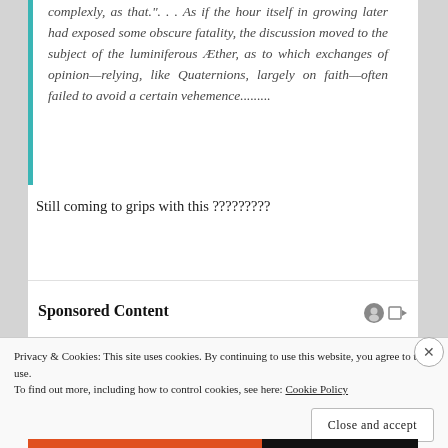complexly, as that.". . . As if the hour itself in growing later had exposed some obscure fatality, the discussion moved to the subject of the luminiferous Æther, as to which exchanges of opinion—relying, like Quaternions, largely on faith—often failed to avoid a certain vehemence.........
Still coming to grips with this ?????????
Sponsored Content
Privacy & Cookies: This site uses cookies. By continuing to use this website, you agree to their use.
To find out more, including how to control cookies, see here: Cookie Policy
Close and accept